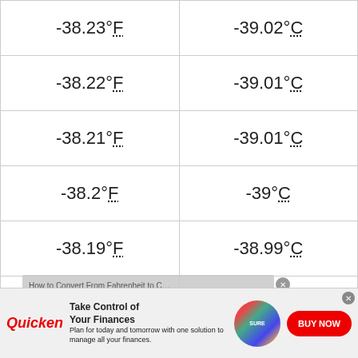| °F | °C |
| --- | --- |
| -38.23°F | -39.02°C |
| -38.22°F | -39.01°C |
| -38.21°F | -39.01°C |
| -38.2°F | -39°C |
| -38.19°F | -38.99°C |
| -38.18°F | -38.99°C |
| -38.17°F | -38.98°C |
| -38.16°F | -38.98°C |
| -38.15°F | -38.97°C |
[Figure (other): Quicken advertisement banner: 'Take Control of Your Finances' with BUY NOW button]